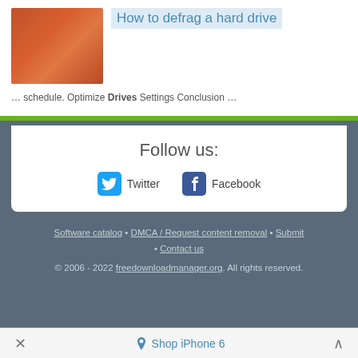[Figure (photo): Thumbnail image of a hard drive with orange/rust-colored tones]
How to defrag a hard drive
… schedule. Optimize Drives Settings Conclusion …
Follow us:
Twitter  Facebook
Software catalog • DMCA / Request content removal • Submit • Contact us
© 2006 - 2022 freedownloadmanager.org. All rights reserved.
Shop iPhone 6